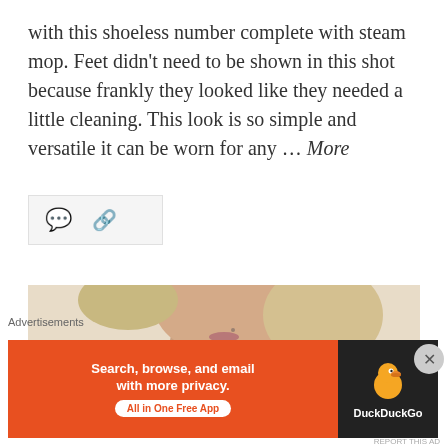with this shoeless number complete with steam mop. Feet didn't need to be shown in this shot because frankly they looked like they needed a little cleaning. This look is so simple and versatile it can be worn for any … More
[Figure (other): Social sharing icons bar: comment bubble icon and link/share icon on a light grey background]
[Figure (photo): Close-up photo of a young woman with blonde hair wearing a red/magenta turtleneck sweater, shot from chin/neck level]
Advertisements
[Figure (screenshot): DuckDuckGo advertisement banner: orange left side with text 'Search, browse, and email with more privacy. All in One Free App' and dark right side with DuckDuckGo duck logo and brand name]